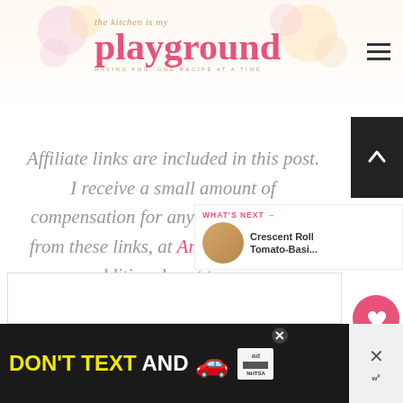[Figure (logo): The Kitchen is my Playground blog logo with pink cursive text and cupcake decorations]
Affiliate links are included in this post. I receive a small amount of compensation for anything purchased from these links, at Amazon.com at no additional cost to you.
[Figure (infographic): What's Next panel with Crescent Roll Tomato-Basi... article thumbnail]
[Figure (photo): Ad banner: DON'T TEXT AND [drive] with car emoji and NHTSA ad badge]